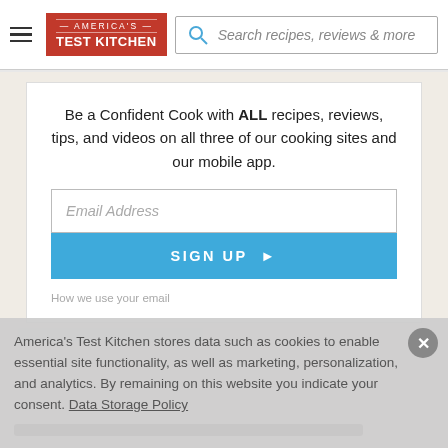America's Test Kitchen — Search recipes, reviews & more
Be a Confident Cook with ALL recipes, reviews, tips, and videos on all three of our cooking sites and our mobile app.
Email Address
SIGN UP ▶
How we use your email
America's Test Kitchen stores data such as cookies to enable essential site functionality, as well as marketing, personalization, and analytics. By remaining on this website you indicate your consent. Data Storage Policy